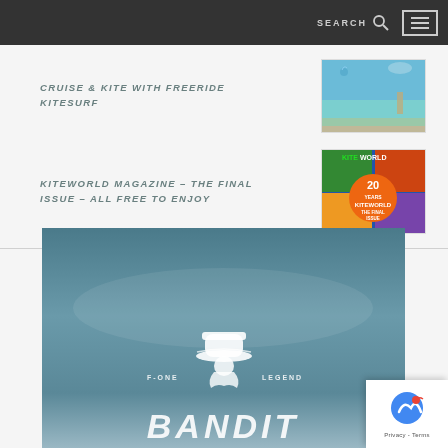SEARCH [search icon] [menu icon]
CRUISE & KITE WITH FREERIDE KITESURF
[Figure (photo): Aerial or wide-angle photo of kitesurf scene with turquoise water, blue sky, and desert/mountain background]
KITEWORLD MAGAZINE – THE FINAL ISSUE – ALL FREE TO ENJOY
[Figure (photo): Cover of Kiteworld Magazine final issue, showing '20 YEARS KITEWORLD THE FINAL ISSUE' badge with colorful magazine collage background]
[Figure (photo): F-ONE LEGEND BANDIT kite advertisement banner with teal sky background, stylized bandit/cowboy logo, and large BANDIT text at bottom]